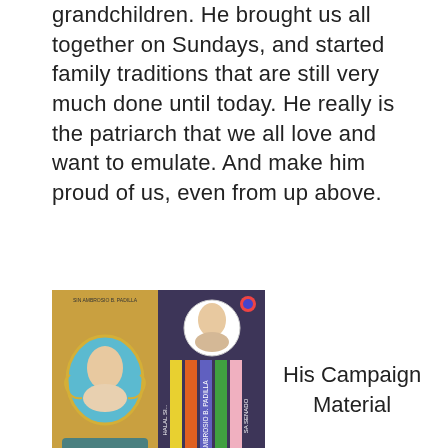grandchildren. He brought us all together on Sundays, and started family traditions that are still very much done until today. He really is the patriarch that we all love and want to emulate. And make him proud of us, even from up above.
[Figure (photo): Two-panel campaign material: left panel shows a portrait of a person in an ornate frame with text 'SIN AMBROSIO B. PADILLA LARILING HIWAYAS'; right panel shows a ballot/slate with a portrait at top and vertical colored stripes labeled 'HALAL SI... AMBROSIO B. PADILLA SA SENADO']
His Campaign Material
He was an Olympian and a Senator. With many other great achievements in between. And in spite of all that, he was able to raise a great family. There are no Olympians nor Senators in the family (yet), but everyone is doing their part to be like him in their field.